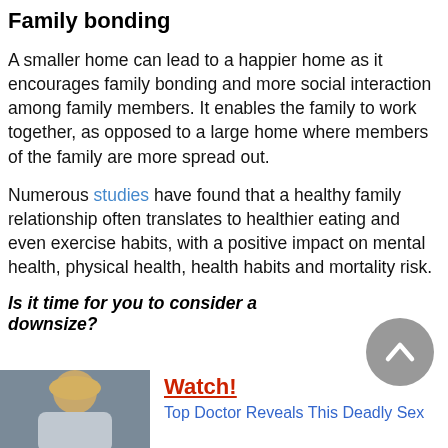Family bonding
A smaller home can lead to a happier home as it encourages family bonding and more social interaction among family members. It enables the family to work together, as opposed to a large home where members of the family are more spread out.
Numerous studies have found that a healthy family relationship often translates to healthier eating and even exercise habits, with a positive impact on mental health, physical health, health habits and mortality risk.
Is it time for you to consider a downsize?
[Figure (illustration): Grey circular back-to-top button with upward chevron arrow]
[Figure (photo): Thumbnail photo of a blonde woman]
Watch!
Top Doctor Reveals This Deadly Sex